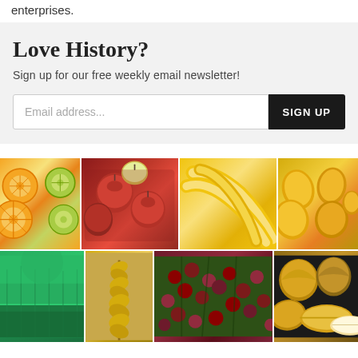enterprises.
Love History?
Sign up for our free weekly email newsletter!
[Figure (photo): A collage of food and agriculture photos arranged in a 3x2 grid: top row shows sliced citrus fruits (oranges and limes), red apples in a basket with bananas, and yellow mangoes; bottom row shows a green rice field, wheat stalks with coffee berries, and brown onions with a sliced root vegetable.]